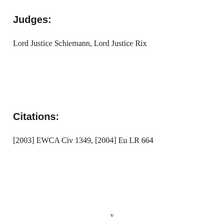Judges:
Lord Justice Schiemann, Lord Justice Rix
Citations:
[2003] EWCA Civ 1349, [2004] Eu LR 664
v